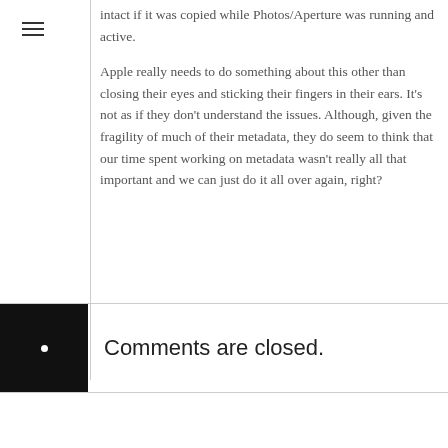intact if it was copied while Photos/Aperture was running and active.
Apple really needs to do something about this other than closing their eyes and sticking their fingers in their ears. It’s not as if they don’t understand the issues. Although, given the fragility of much of their metadata, they do seem to think that our time spent working on metadata wasn’t really all that important and we can just do it all over again, right?
Comments are closed.